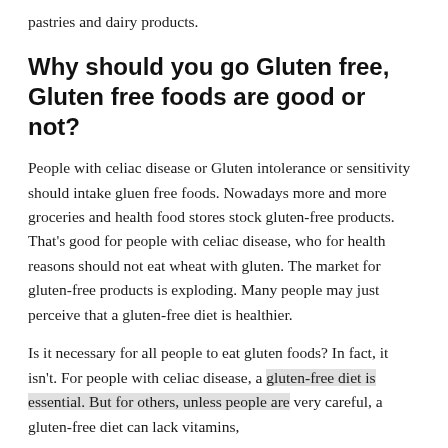pastries and dairy products.
Why should you go Gluten free, Gluten free foods are good or not?
People with celiac disease or Gluten intolerance or sensitivity should intake gluen free foods. Nowadays more and more groceries and health food stores stock gluten-free products. That's good for people with celiac disease, who for health reasons should not eat wheat with gluten. The market for gluten-free products is exploding. Many people may just perceive that a gluten-free diet is healthier.
Is it necessary for all people to eat gluten foods? In fact, it isn't. For people with celiac disease, a gluten-free diet is essential. But for others, unless people are very careful, a gluten-free diet can lack vitamins,